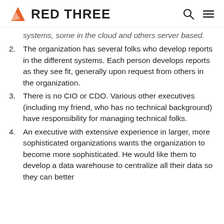RED THREE
systems, some in the cloud and others server based.
2. The organization has several folks who develop reports in the different systems. Each person develops reports as they see fit, generally upon request from others in the organization.
3. There is no CIO or CDO. Various other executives (including my friend, who has no technical background) have responsibility for managing technical folks.
4. An executive with extensive experience in larger, more sophisticated organizations wants the organization to become more sophisticated. He would like them to develop a data warehouse to centralize all their data so they can better